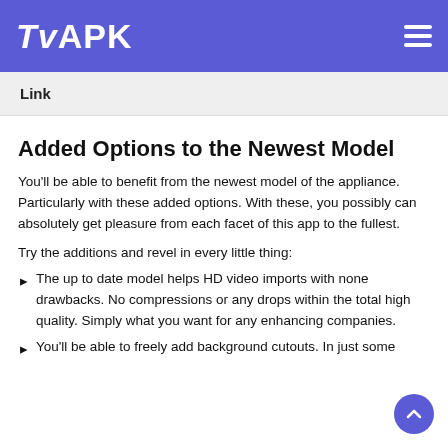TvAPK
| Link |  |
| --- | --- |
Added Options to the Newest Model
You’ll be able to benefit from the newest model of the appliance. Particularly with these added options. With these, you possibly can absolutely get pleasure from each facet of this app to the fullest.
Try the additions and revel in every little thing:
The up to date model helps HD video imports with none drawbacks. No compressions or any drops within the total high quality. Simply what you want for any enhancing companies.
You’ll be able to freely add background cutouts. In just some